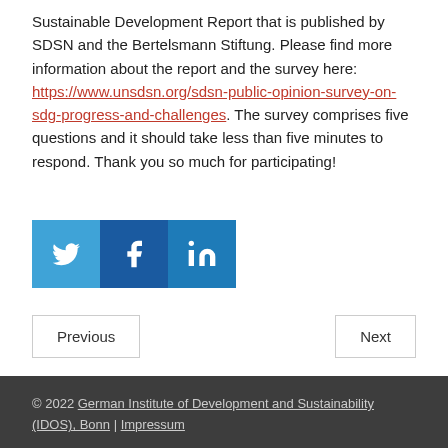Sustainable Development Report that is published by SDSN and the Bertelsmann Stiftung. Please find more information about the report and the survey here: https://www.unsdsn.org/sdsn-public-opinion-survey-on-sdg-progress-and-challenges. The survey comprises five questions and it should take less than five minutes to respond. Thank you so much for participating!
[Figure (other): Three social media share buttons: Twitter (blue), Facebook (dark blue), LinkedIn (blue)]
Previous | Next
© 2022 German Institute of Development and Sustainability (IDOS), Bonn | Impressum